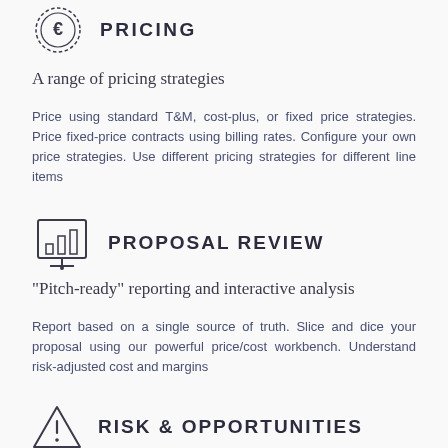[Figure (illustration): Euro coin icon with dashed circular border]
PRICING
A range of pricing strategies
Price using standard T&M, cost-plus, or fixed price strategies. Price fixed-price contracts using billing rates. Configure your own price strategies. Use different pricing strategies for different line items
[Figure (illustration): Presentation chart/bar chart on a board icon]
PROPOSAL REVIEW
"Pitch-ready" reporting and interactive analysis
Report based on a single source of truth. Slice and dice your proposal using our powerful price/cost workbench. Understand risk-adjusted cost and margins
[Figure (illustration): Triangle warning/alert icon]
RISK & OPPORTUNITIES